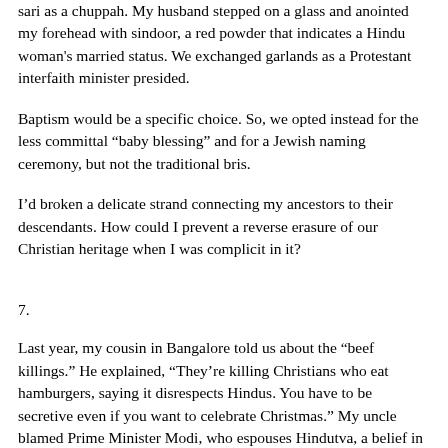sari as a chuppah. My husband stepped on a glass and anointed my forehead with sindoor, a red powder that indicates a Hindu woman's married status. We exchanged garlands as a Protestant interfaith minister presided.
Baptism would be a specific choice. So, we opted instead for the less committal “baby blessing” and for a Jewish naming ceremony, but not the traditional bris.
I’d broken a delicate strand connecting my ancestors to their descendants. How could I prevent a reverse erasure of our Christian heritage when I was complicit in it?
7.
Last year, my cousin in Bangalore told us about the “beef killings.” He explained, “They’re killing Christians who eat hamburgers, saying it disrespects Hindus. You have to be secretive even if you want to celebrate Christmas.” My uncle blamed Prime Minister Modi, who espouses Hindutva, a belief in Hindu supremacy, some followers of which believe ancient Indians launched spacecraft and performed